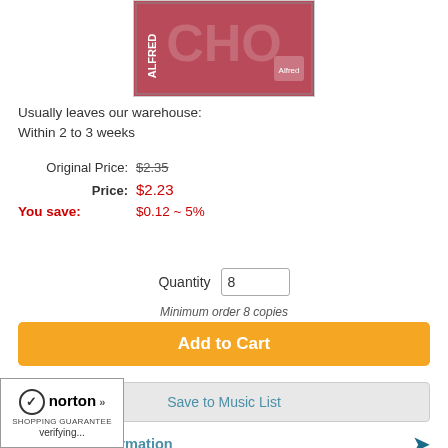[Figure (illustration): Product book cover image - Alfred brand, red/pink colored cover with musical notation]
Usually leaves our warehouse:
Within 2 to 3 weeks
Original Price: $2.35
Price: $2.23
You save: $0.12 ~ 5%
Quantity 8
Minimum order 8 copies
Add to Cart
Save to Music List
Additional Information